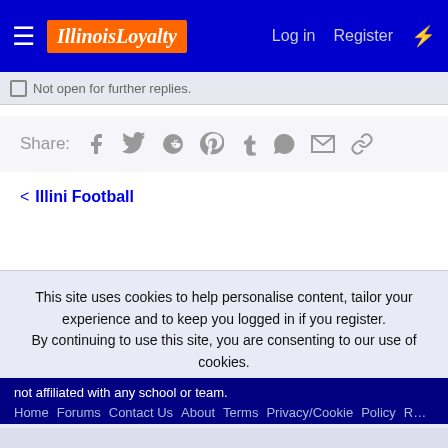IllinoisLoyalty — Log in  Register
Not open for further replies.
Share:  [Facebook] [Twitter] [Reddit] [Pinterest] [Tumblr] [WhatsApp] [Email] [Link]
< Illini Football
This site uses cookies to help personalise content, tailor your experience and to keep you logged in if you register.
By continuing to use this site, you are consenting to our use of cookies.
Accept  Learn more...
not affiliated with any school or team.
Home  Forums  Contact Us  About  Terms  Privacy/Cookie Policy  R...